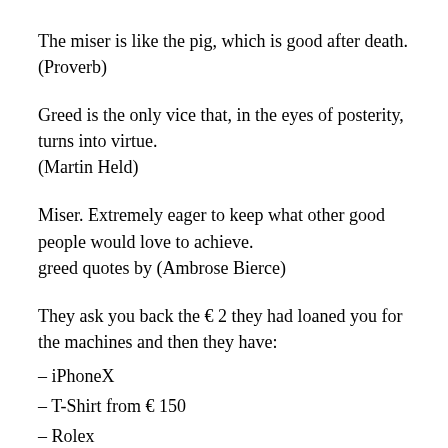The miser is like the pig, which is good after death. (Proverb)
Greed is the only vice that, in the eyes of posterity, turns into virtue. (Martin Held)
Miser. Extremely eager to keep what other good people would love to achieve. greed quotes by (Ambrose Bierce)
They ask you back the € 2 they had loaned you for the machines and then they have:
– iPhoneX
– T-Shirt from € 150
– Rolex